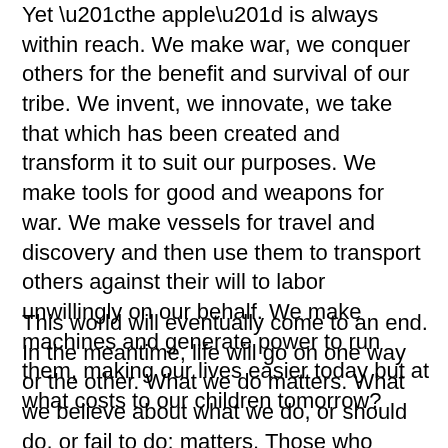Yet “the apple” is always within reach.  We make war, we conquer others for the benefit and survival of our tribe.  We invent, we innovate, we take that which has been created and transform it to suit our purposes.  We make tools for good and weapons for war.  We make vessels for travel and discovery and then use them to transport others against their will to labor unwillingly on our behalf.  We make machines and generate power to run them, making our lives easier today but at what costs to our children tomorrow?
This world will eventually come to an end.  In the meantime, life will go on one way or the other.  What we do matters.  What we believe about what we do, or should do, or fail to do; matters.  Those who come after us may thank us or curse us for what we leave behind.  But they will not forget us, even if they try.